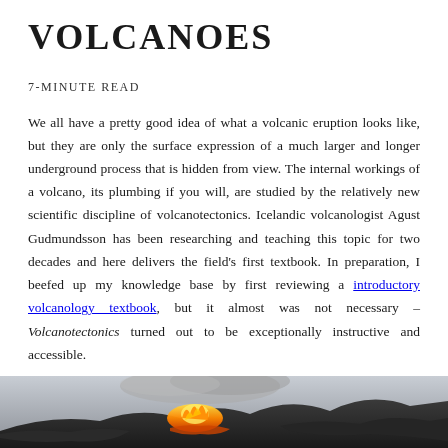VOLCANOES
7-MINUTE READ
We all have a pretty good idea of what a volcanic eruption looks like, but they are only the surface expression of a much larger and longer underground process that is hidden from view. The internal workings of a volcano, its plumbing if you will, are studied by the relatively new scientific discipline of volcanotectonics. Icelandic volcanologist Agust Gudmundsson has been researching and teaching this topic for two decades and here delivers the field's first textbook. In preparation, I beefed up my knowledge base by first reviewing a introductory volcanology textbook, but it almost was not necessary – Volcanotectonics turned out to be exceptionally instructive and accessible.
[Figure (photo): Bottom strip photo showing a volcanic eruption with fire and lava flows against a dark rocky landscape.]